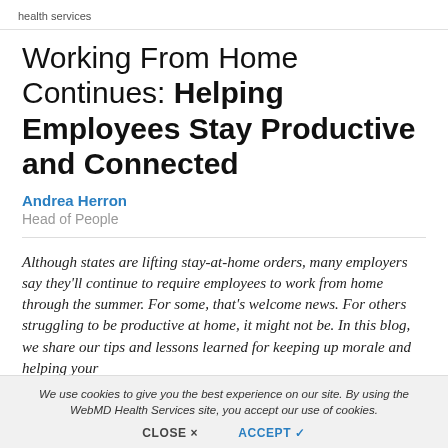health services
Working From Home Continues: Helping Employees Stay Productive and Connected
Andrea Herron
Head of People
Although states are lifting stay-at-home orders, many employers say they'll continue to require employees to work from home through the summer. For some, that's welcome news. For others struggling to be productive at home, it might not be. In this blog, we share our tips and lessons learned for keeping up morale and helping your
We use cookies to give you the best experience on our site. By using the WebMD Health Services site, you accept our use of cookies.